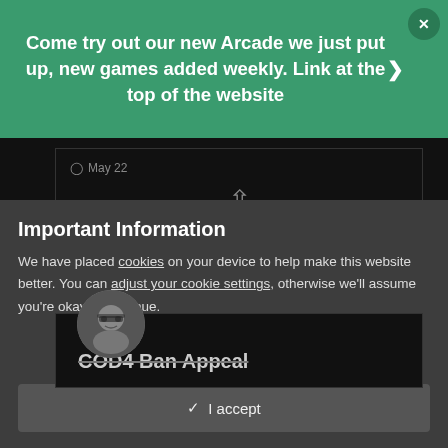Come try out our new Arcade we just put up, new games added weekly. Link at the top of the website
[Figure (screenshot): Dark website UI showing a post card with date May 22, upvote arrow, 1 POINT text]
[Figure (photo): User avatar photo of a bearded man with sunglasses]
COD4 Ban Appeal
Important Information
We have placed cookies on your device to help make this website better. You can adjust your cookie settings, otherwise we'll assume you're okay to continue.
I accept